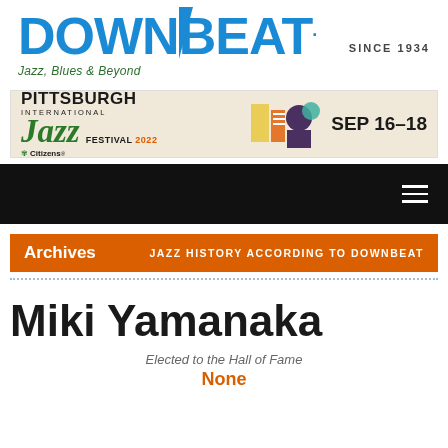DOWNBEAT. Jazz, Blues & Beyond SINCE 1934
[Figure (infographic): Pittsburgh International Jazz Festival 2022 advertisement banner. Citizens Bank sponsor. SEP 16-18. Colorful abstract graphic of musician silhouettes.]
Archives  JAZZ HISTORY ACCORDING TO DOWNBEAT
Miki Yamanaka
Elected to the Hall of Fame
None